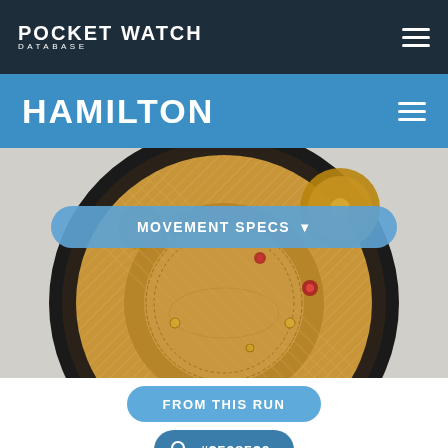POCKET WATCH DATABASE
HAMILTON
[Figure (photo): Close-up photo of a Hamilton pocket watch movement showing gold-colored gears, engravings, and mechanical components]
MOVEMENT SPECS ▾
FROM THIS RUN
#2508530
UPLOADED BY THETARRMAN